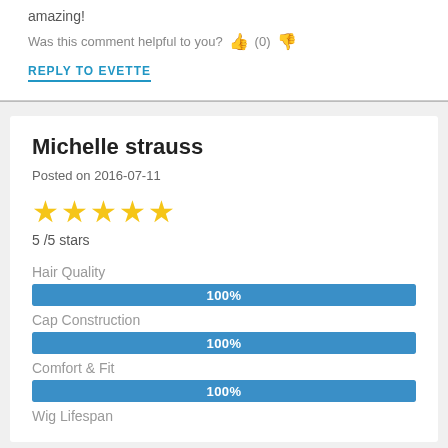amazing!
Was this comment helpful to you? 👍 (0) 👎
REPLY TO EVETTE
Michelle strauss
Posted on 2016-07-11
5 /5 stars
Hair Quality
100%
Cap Construction
100%
Comfort & Fit
100%
Wig Lifespan